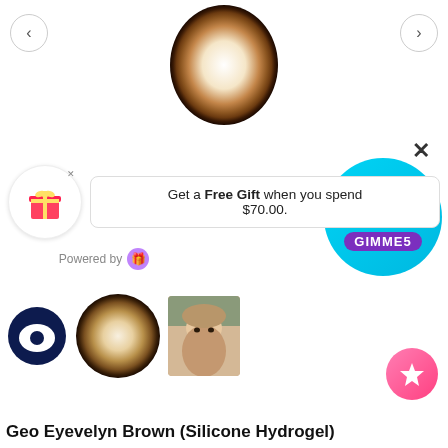[Figure (photo): Brown contact lens viewed from above, circular with brown gradient pattern]
×
[Figure (photo): Red gift box emoji/icon with yellow ribbon]
Get a Free Gift when you spend $70.00.
[Figure (infographic): Cyan circular coupon badge: SPEND $20, $5 OFF, COUPON CODE: GIMME5]
Powered by
[Figure (logo): Purple app icon/logo circle]
[Figure (logo): Navy blue chat bubble logo]
[Figure (photo): Brown contact lens thumbnail]
[Figure (photo): Young Asian woman wearing contact lenses, selfie photo]
[Figure (illustration): Pink gradient circle button with star/snowflake icon]
Geo Eyevelyn Brown (Silicone Hydrogel)